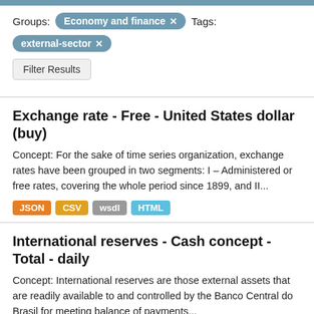Groups: Economy and finance ✕   Tags:
external-sector ✕
Filter Results
Exchange rate - Free - United States dollar (buy)
Concept: For the sake of time series organization, exchange rates have been grouped in two segments: I – Administered or free rates, covering the whole period since 1899, and II...
JSON  CSV  wsdl  HTML
International reserves - Cash concept - Total - daily
Concept: International reserves are those external assets that are readily available to and controlled by the Banco Central do Brasil for meeting balance of payments...
JSON  CSV  wsdl  HTML